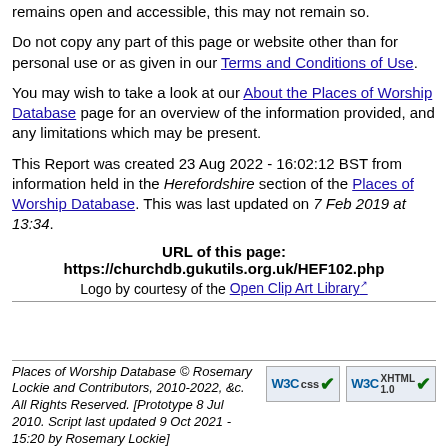remains open and accessible, this may not remain so.
Do not copy any part of this page or website other than for personal use or as given in our Terms and Conditions of Use.
You may wish to take a look at our About the Places of Worship Database page for an overview of the information provided, and any limitations which may be present.
This Report was created 23 Aug 2022 - 16:02:12 BST from information held in the Herefordshire section of the Places of Worship Database. This was last updated on 7 Feb 2019 at 13:34.
URL of this page:
https://churchdb.gukutils.org.uk/HEF102.php
Logo by courtesy of the Open Clip Art Library
Places of Worship Database © Rosemary Lockie and Contributors, 2010-2022, &c. All Rights Reserved. [Prototype 8 Jul 2010. Script last updated 9 Oct 2021 - 15:20 by Rosemary Lockie]